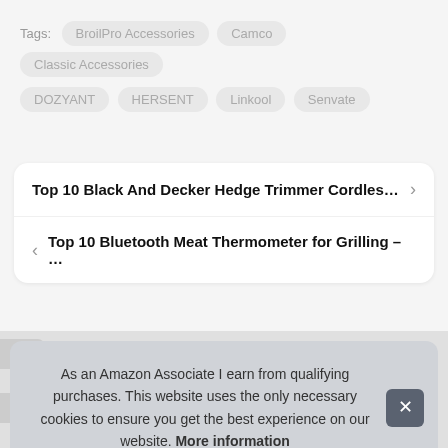Tags: BroilPro Accessories  Camco  Classic Accessories  DOZYANT  HERSENT  Linkool  Senvate
Top 10 Black And Decker Hedge Trimmer Cordles... >
< Top 10 Bluetooth Meat Thermometer for Grilling – ...
As an Amazon Associate I earn from qualifying purchases. This website uses the only necessary cookies to ensure you get the best experience on our website. More information